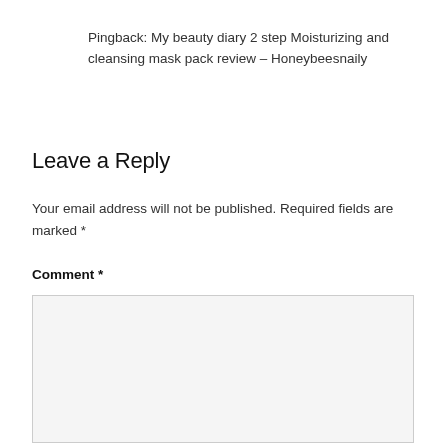Pingback: My beauty diary 2 step Moisturizing and cleansing mask pack review – Honeybeesnaily
Leave a Reply
Your email address will not be published. Required fields are marked *
Comment *
[Figure (other): Empty comment text area input box]